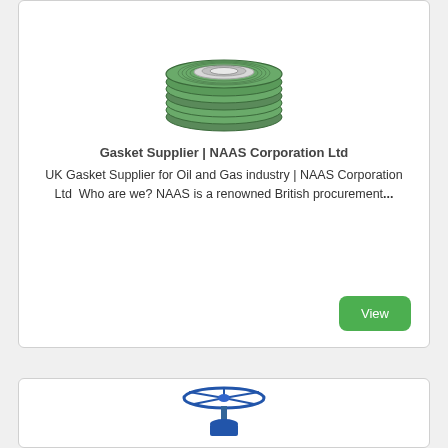[Figure (photo): Stack of green spiral wound gaskets with silver inner rings, photographed from above at an angle]
Gasket Supplier | NAAS Corporation Ltd
UK Gasket Supplier for Oil and Gas industry | NAAS Corporation Ltd  Who are we? NAAS is a renowned British procurement...
[Figure (photo): Blue handwheel gate valve photographed from the front, partially visible at bottom of page]